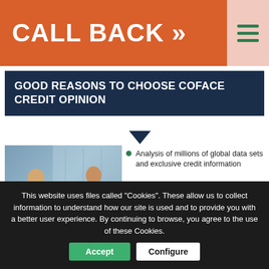CALL BACK »
GOOD REASONS TO CHOOSE COFACE CREDIT OPINION
[Figure (photo): Group of business professionals gathered around a laptop on a desk in an office setting]
Analysis of millions of global data sets and exclusive credit information
Information is adjusted for external shocks to the economy according to a company's sector, size and geographic location
A monitored credit score is included to help assess current probability of default
This website uses files called "Cookies". These allow us to collect information to understand how our site is used and to provide you with a better user experience. By continuing to browse, you agree to the use of these Cookies.